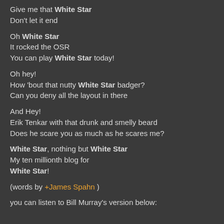Give me that White Star
Don't let it end
Oh White Star
It rocked the OSR
You can play White Star today!
Oh hey!
How 'bout that nutty White Star badger?
Can you deny all the layout in there
And Hey!
Erik Tenkar with that drunk and smelly beard
Does he scare you as much as he scares me?
White Star, nothing but White Star
My ten millionth blog for
White Star!
(words by +James Spahn )
you can listen to Bill Murray's version below: